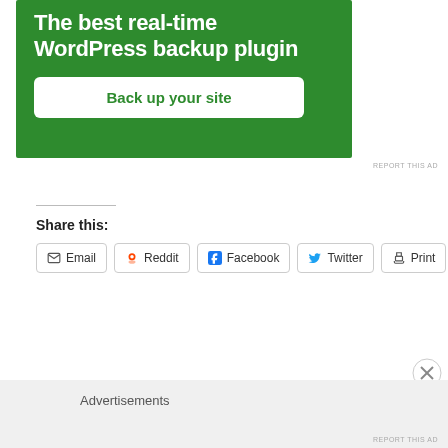[Figure (screenshot): Green advertisement banner for WordPress backup plugin with 'Back up your site' button]
REPORT THIS AD
Share this:
Email  Reddit  Facebook  Twitter  Print
[Figure (screenshot): Close/X button circle]
Advertisements
REPORT THIS AD